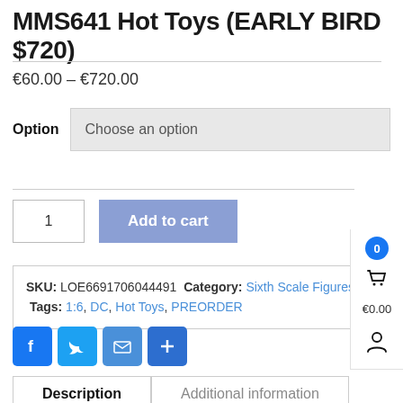MMS641 Hot Toys (EARLY BIRD $720)
€60.00 – €720.00
Option  Choose an option
1  Add to cart
SKU: LOE6691706044491  Category: Sixth Scale Figures  Tags: 1:6, DC, Hot Toys, PREORDER
[Figure (other): Social share buttons: Facebook, Twitter, Email, More]
Description  Additional information